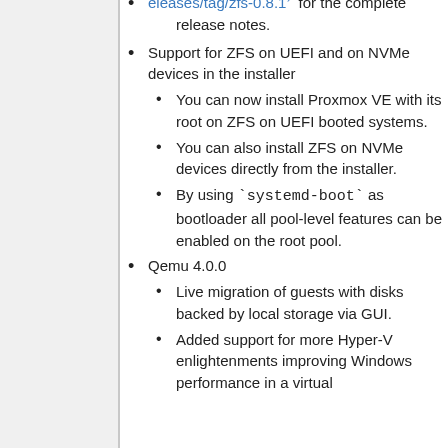eleases/tag/zfs-0.8.1 for the complete release notes.
Support for ZFS on UEFI and on NVMe devices in the installer
You can now install Proxmox VE with its root on ZFS on UEFI booted systems.
You can also install ZFS on NVMe devices directly from the installer.
By using `systemd-boot` as bootloader all pool-level features can be enabled on the root pool.
Qemu 4.0.0
Live migration of guests with disks backed by local storage via GUI.
Added support for more Hyper-V enlightenments improving Windows performance in a virtual